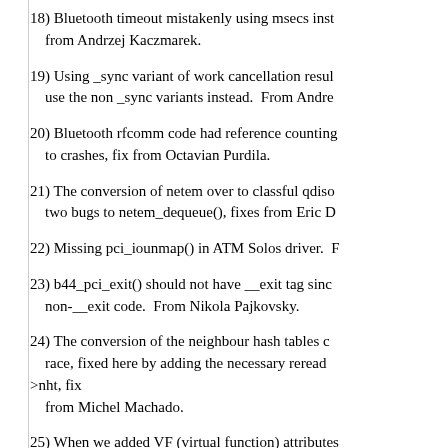18) Bluetooth timeout mistakenly using msecs instead of jiffies, from Andrzej Kaczmarek.
19) Using _sync variant of work cancellation results in a deadlock, use the non _sync variants instead.  From Andre...
20) Bluetooth rfcomm code had reference counting bugs which lead to crashes, fix from Octavian Purdila.
21) The conversion of netem over to classful qdisc introduced two bugs to netem_dequeue(), fixes from Eric D...
22) Missing pci_iounmap() in ATM Solos driver.  F...
23) b44_pci_exit() should not have __exit tag since it is called from non-__exit code.  From Nikola Pajkovsky.
24) The conversion of the neighbour hash tables caused a race, fixed here by adding the necessary reread_neigh_seq->nht, fix from Michel Machado.
25) When we added VF (virtual function) attributes to rtnetlink dumps, this potentially bloats up the size of the dump per network device such that the dump size is too large to be allocated by properly written netlink applications.

In particular, if you add 255 VFs to a network device, programs using GLIBC stop working.